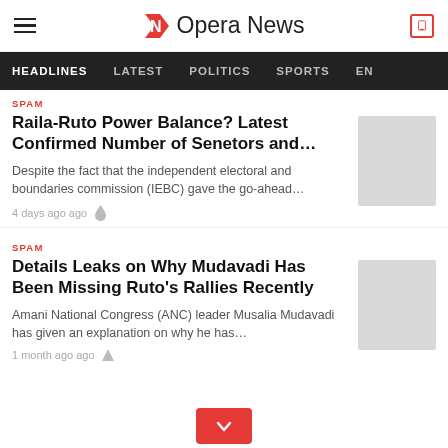Opera News
HEADLINES   LATEST   POLITICS   SPORTS   EN
SPAM
Raila-Ruto Power Balance? Latest Confirmed Number of Senetors and…
Despite the fact that the independent electoral and boundaries commission (IEBC) gave the go-ahead…
4 days ago ago
SPAM
Details Leaks on Why Mudavadi Has Been Missing Ruto's Rallies Recently
Amani National Congress (ANC) leader Musalia Mudavadi has given an explanation on why he has…
1 month ago ago